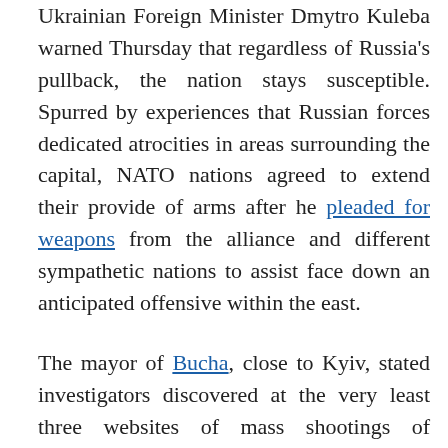Ukrainian Foreign Minister Dmytro Kuleba warned Thursday that regardless of Russia's pullback, the nation stays susceptible. Spurred by experiences that Russian forces dedicated atrocities in areas surrounding the capital, NATO nations agreed to extend their provide of arms after he pleaded for weapons from the alliance and different sympathetic nations to assist face down an anticipated offensive within the east.
The mayor of Bucha, close to Kyiv, stated investigators discovered at the very least three websites of mass shootings of civilians in the course of the Russian occupation. Most victims died from gunshots, not from shelling, he stated, and a few corpses with their arms tied had been "dumped like firewood" into mass